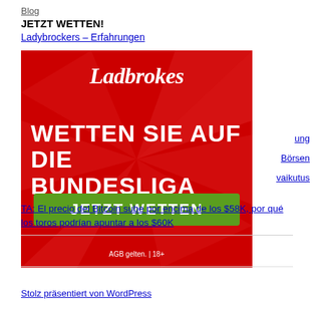Blog
JETZT WETTEN!
Ladybrockers – Erfahrungen
[Figure (illustration): Ladbrokes advertisement banner on red background with text 'WETTEN SIE AUF DIE BUNDESLIGA', green button 'JETZT WETTEN', and 'AGB gelten. | 18+' disclaimer]
ung
Börsen
vaikutus
TA: El precio del Bitcoin sube por encima de los $58K, por qué los toros podrían apuntar a los $60K
Stolz präsentiert von WordPress